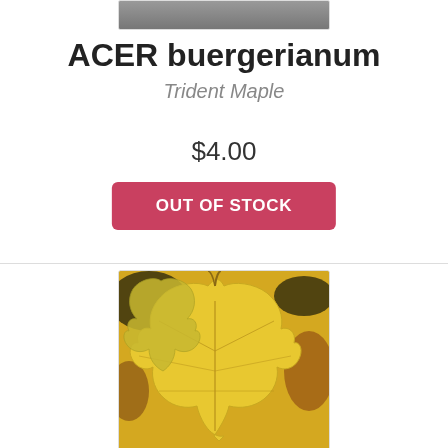[Figure (photo): Partial photo at top of page, showing a blurred outdoor scene]
ACER buergerianum
Trident Maple
$4.00
OUT OF STOCK
[Figure (photo): Close-up photo of yellow/golden Trident Maple leaves]